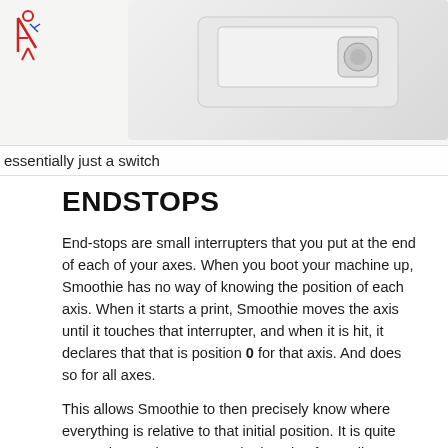[Figure (photo): Partial view of an endstop switch component (white/grey device) against a light background, with a small decorative logo in the top left corner]
essentially just a switch
ENDSTOPS
End-stops are small interrupters that you put at the end of each of your axes. When you boot your machine up, Smoothie has no way of knowing the position of each axis. When it starts a print, Smoothie moves the axis until it touches that interrupter, and when it is hit, it declares that that is position 0 for that axis. And does so for all axes.
This allows Smoothie to then precisely know where everything is relative to that initial position. It is quite convenient as it saves you the hassle of actually moving the machine into that position when you want to start a print. Automation is great.
However, end-stops are not necessary, you could do without them. They are just so convenient that most machines use them.